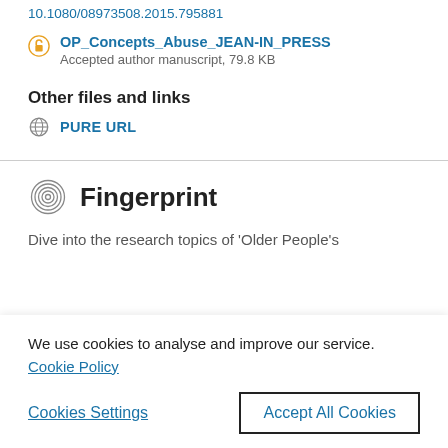10.1080/08973508.2015.795881
OP_Concepts_Abuse_JEAN-IN_PRESS
Accepted author manuscript, 79.8 KB
Other files and links
PURE URL
Fingerprint
Dive into the research topics of 'Older People's
We use cookies to analyse and improve our service. Cookie Policy
Cookies Settings
Accept All Cookies